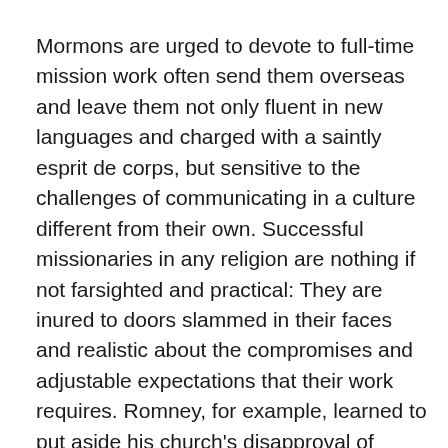Mormons are urged to devote to full-time mission work often send them overseas and leave them not only fluent in new languages and charged with a saintly esprit de corps, but sensitive to the challenges of communicating in a culture different from their own. Successful missionaries in any religion are nothing if not farsighted and practical: They are inured to doors slammed in their faces and realistic about the compromises and adjustable expectations that their work requires. Romney, for example, learned to put aside his church's disapproval of alcohol and approach patrons in French bars.
Experiences like these teach Mormons to temper the American exceptionalism inherent to their theology. Neither faith nor patriotism stopped the church-owned newspaper, Utah's Deseret News, from recently bucking the region's nativist tendencies by protesting growing